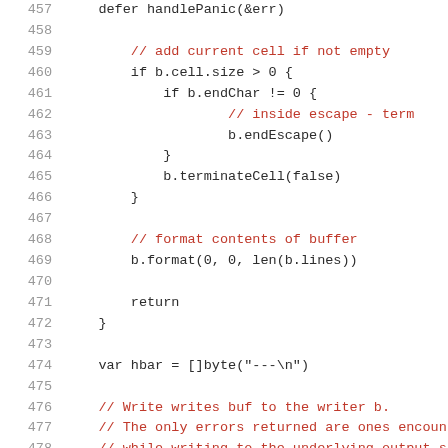[Figure (screenshot): Source code listing in a monospace font showing Go code lines 457-478, with line numbers in gray on the left and comments highlighted in red/dark red. The code shows logic for handling buffer cells, formatting, and a Write function.]